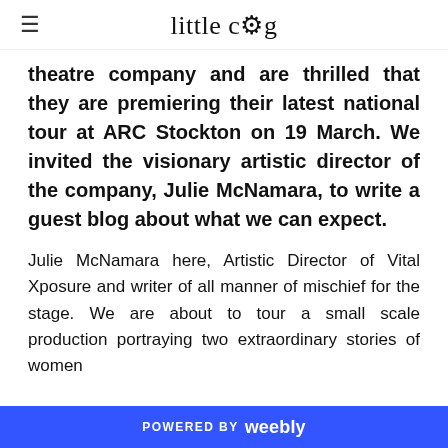little cog
theatre company and are thrilled that they are premiering their latest national tour at ARC Stockton on 19 March. We invited the visionary artistic director of the company, Julie McNamara, to write a guest blog about what we can expect.
Julie McNamara here, Artistic Director of Vital Xposure and writer of all manner of mischief for the stage. We are about to tour a small scale production portraying two extraordinary stories of women
POWERED BY weebly